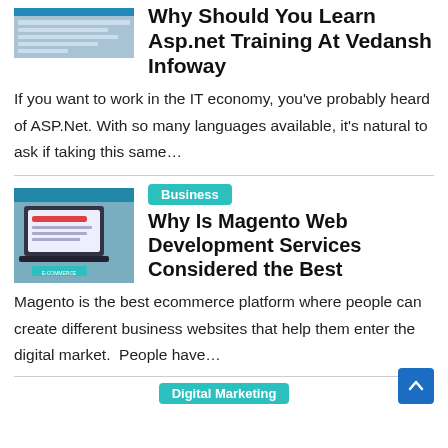[Figure (screenshot): Screenshot of a webpage about ASP.NET training at Vedansh Infoway]
Why Should You Learn Asp.net Training At Vedansh Infoway
If you want to work in the IT economy, you've probably heard of ASP.Net. With so many languages available, it's natural to ask if taking this same…
[Figure (screenshot): Screenshot of a webpage about Magento Web Development Services with e-commerce laptop image]
Business
Why Is Magento Web Development Services Considered the Best
Magento is the best ecommerce platform where people can create different business websites that help them enter the digital market.  People have…
Digital Marketing